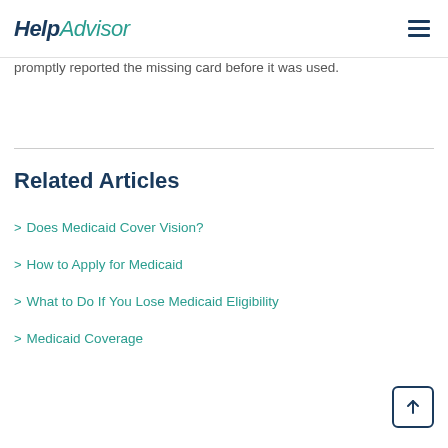HelpAdvisor
promptly reported the missing card before it was used.
Related Articles
Does Medicaid Cover Vision?
How to Apply for Medicaid
What to Do If You Lose Medicaid Eligibility
Medicaid Coverage